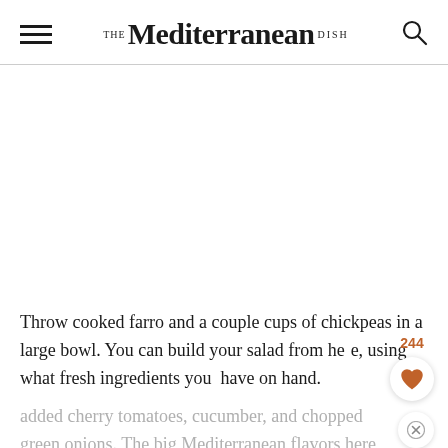THE Mediterranean DISH
[Figure (photo): Blank white image placeholder area below the header navigation]
Throw cooked farro and a couple cups of chickpeas in a large bowl. You can build your salad from here, using what fresh ingredients you have on hand. I added cherry tomatoes, cucumber, and chopped green onions. The big Mediterranean flavors here